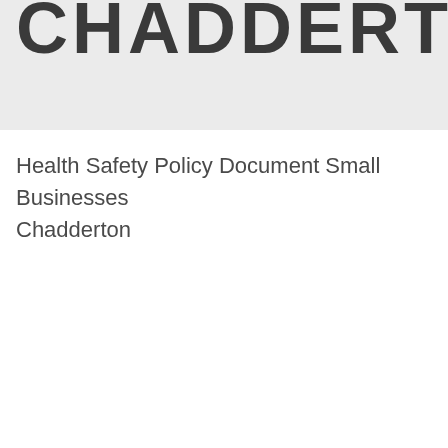[Figure (logo): CHADDERTON logo text in bold dark letters on a light grey background, partially cropped at top]
Health Safety Policy Document Small Businesses Chadderton